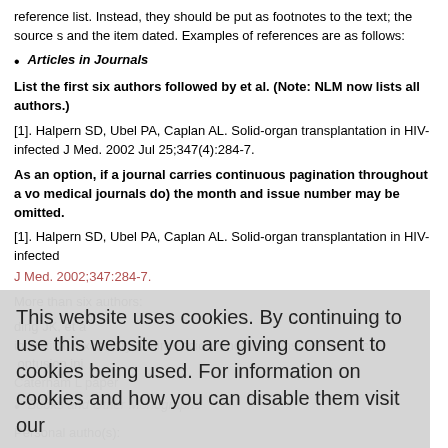reference list. Instead, they should be put as footnotes to the text; the source s and the item dated. Examples of references are as follows:
Articles in Journals
List the first six authors followed by et al. (Note: NLM now lists all authors.)
[1]. Halpern SD, Ubel PA, Caplan AL. Solid-organ transplantation in HIV-infected J Med. 2002 Jul 25;347(4):284-7.
As an option, if a journal carries continuous pagination throughout a vo medical journals do) the month and issue number may be omitted.
[1]. Halpern SD, Ubel PA, Caplan AL. Solid-organ transplantation in HIV-infected J Med. 2002;347:284-7.
More than six authors:
ding JK, et a interstitial excitatory amino acid concentrations after cortical contusion inj Caterham L paper
Books and Other Monographs
Personal autho(s):
[1). Murray PR, Rosenthal KS, Kobayazcm GS, Pfaller MA. Medical microbiology. 4 Mosby; 2002.
This website uses cookies. By continuing to use this website you are giving consent to cookies being used. For information on cookies and how you can disable them visit our
Privacy and Cookie Policy.
AGREE & PROCEED